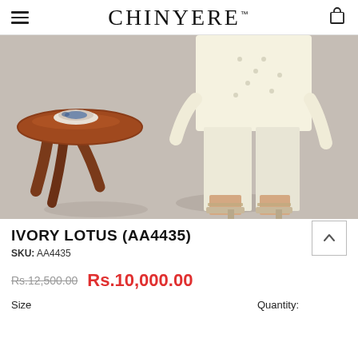CHINYERE™
[Figure (photo): Fashion product photo showing lower half of a model wearing ivory/cream colored kurti and trousers with heeled sandals, standing next to a wooden side table with decorative items on top, on a grey background.]
IVORY LOTUS (AA4435)
SKU: AA4435
Rs.12,500.00  Rs.10,000.00
Size  Quantity: